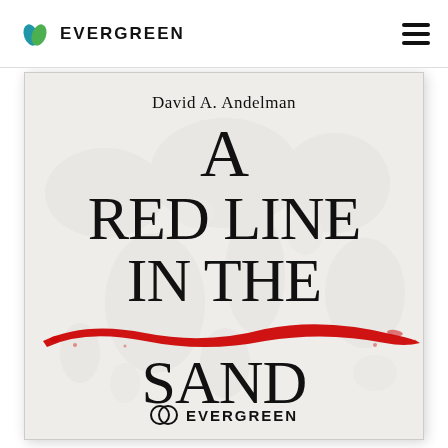EVERGREEN
[Figure (illustration): Book cover for 'A Red Line in the Sand' by David A. Andelman, published by Evergreen. White/cream background with faint world map. Large serif black text for title. A bold red brushstroke/paint mark runs diagonally across the middle of the cover. Evergreen logo at the bottom.]